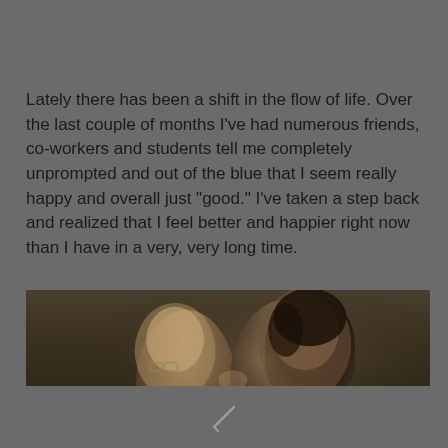Lately there has been a shift in the flow of life. Over the last couple of months I've had numerous friends, co-workers and students tell me completely unprompted and out of the blue that I seem really happy and overall just "good." I've taken a step back and realized that I feel better and happier right now than I have in a very, very long time.
[Figure (photo): A dark-toned photograph of two people appearing to kiss or lean close together, one with glasses and lighter hair on the left, one with dark hair on the right, against a warm beige/tan background.]